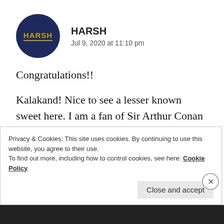[Figure (illustration): Dark navy circular avatar with the text HARSH in gold/yellow bold letters with a gold underline]
HARSH
Jul 9, 2020 at 11:10 pm
Congratulations!!
Kalakand! Nice to see a lesser known sweet here. I am a fan of Sir Arthur Conan Doyle and Sherlock Holmes as well.
Privacy & Cookies: This site uses cookies. By continuing to use this website, you agree to their use.
To find out more, including how to control cookies, see here: Cookie Policy
Close and accept